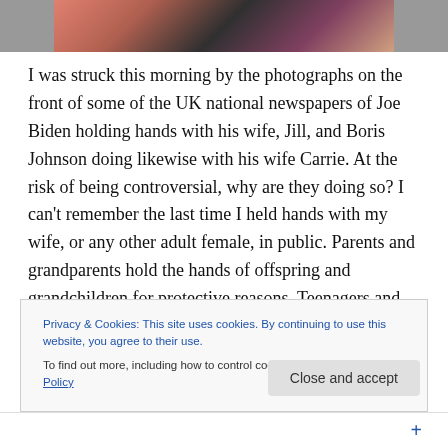[Figure (photo): Partial photograph showing people, cropped at top of page]
I was struck this morning by the photographs on the front of some of the UK national newspapers of Joe Biden holding hands with his wife, Jill, and Boris Johnson doing likewise with his wife Carrie. At the risk of being controversial, why are they doing so? I can’t remember the last time I held hands with my wife, or any other adult female, in public. Parents and grandparents hold the hands of offspring and grandchildren for protective reasons. Teenagers and young adults hold hands as a
Privacy & Cookies: This site uses cookies. By continuing to use this website, you agree to their use.
To find out more, including how to control cookies, see here: Cookie Policy
Close and accept